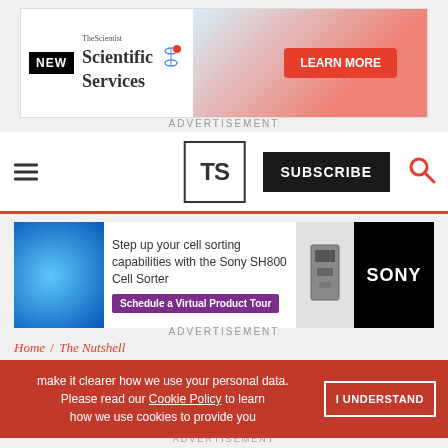[Figure (screenshot): Top advertisement banner: The Scientist Scientific Services with NEW label and LEARN MORE red button]
ADVERTISEMENT
[Figure (screenshot): Website navigation bar with hamburger menu, TS logo, SUBSCRIBE button, and search icon]
[Figure (screenshot): Sony SH800 Cell Sorter advertisement with cell image and Schedule a Virtual Product Tour button]
ADVERTISEMENT
Home / The Nutshell
[Figure (screenshot): Cookie consent banner: make it clearer how we use your personal data. Please read our Cookie Policy to learn how we use cookies to provide you - with I UNDERSTAND button]
[Figure (screenshot): OriGene Special Offer advertisement: Primary Antibody Samples 30 ul for $99/€99 with LEARN MORE button]
ADVERTISEMENT